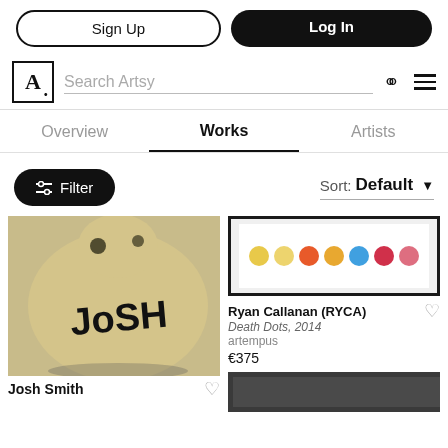Sign Up | Log In
Search Artsy
Overview | Works | Artists
Filter | Sort: Default
[Figure (photo): A gold ceramic/sculptural piece with 'JoSH' written in black graffiti lettering, photographed on white background]
Josh Smith
[Figure (photo): Framed artwork showing a row of colored circles/dots on white background — Death Dots by Ryan Callanan (RYCA), 2014]
Ryan Callanan (RYCA)
Death Dots, 2014
artempus
€375